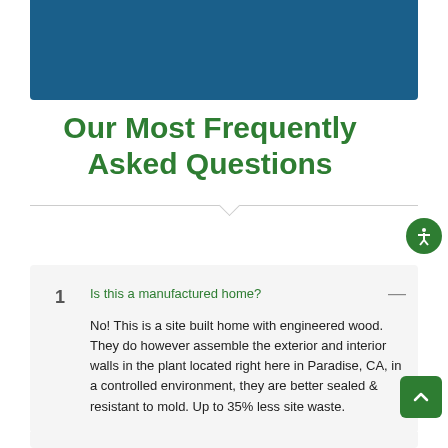[Figure (other): Dark blue banner/header image at the top of the page]
Our Most Frequently Asked Questions
1. Is this a manufactured home? — No! This is a site built home with engineered wood. They do however assemble the exterior and interior walls in the plant located right here in Paradise, CA, in a controlled environment, they are better sealed & resistant to mold. Up to 35% less site waste.